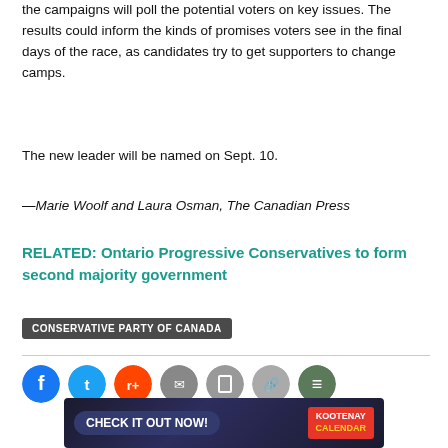the campaigns will poll the potential voters on key issues. The results could inform the kinds of promises voters see in the final days of the race, as candidates try to get supporters to change camps.
The new leader will be named on Sept. 10.
—Marie Woolf and Laura Osman, The Canadian Press
RELATED: Ontario Progressive Conservatives to form second majority government
CONSERVATIVE PARTY OF CANADA
[Figure (other): Social media share icons (Facebook, Twitter, Reddit, and others) and a back-to-top button]
[Figure (other): Advertisement banner: CHECK IT OUT NOW! Kootenay Calendar]